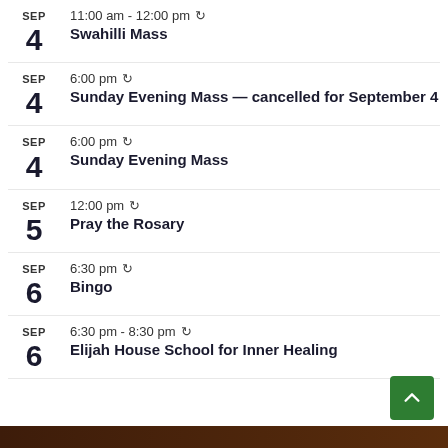SEP 4 — 11:00 am - 12:00 pm (recurring) — Swahilli Mass
SEP 4 — 6:00 pm (recurring) — Sunday Evening Mass — cancelled for September 4
SEP 4 — 6:00 pm (recurring) — Sunday Evening Mass
SEP 5 — 12:00 pm (recurring) — Pray the Rosary
SEP 6 — 6:30 pm (recurring) — Bingo
SEP 6 — 6:30 pm - 8:30 pm (recurring) — Elijah House School for Inner Healing